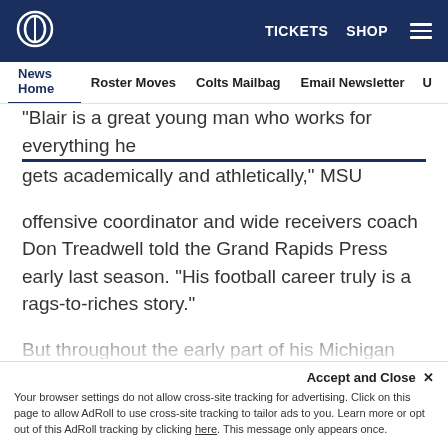TICKETS  SHOP  ☰
News Home  Roster Moves  Colts Mailbag  Email Newsletter  U
"Blair is a great young man who works for everything he gets academically and athletically," MSU offensive coordinator and wide receivers coach Don Treadwell told the Grand Rapids Press early last season. "His football career truly is a rags-to-riches story."
But throughout the early part of his Michigan State career, success was no guarantee.
He played special teams in 2006, but sustained a back injury and was not initially invited to training camp in
Accept and Close ✕
Your browser settings do not allow cross-site tracking for advertising. Click on this page to allow AdRoll to use cross-site tracking to tailor ads to you. Learn more or opt out of this AdRoll tracking by clicking here. This message only appears once.